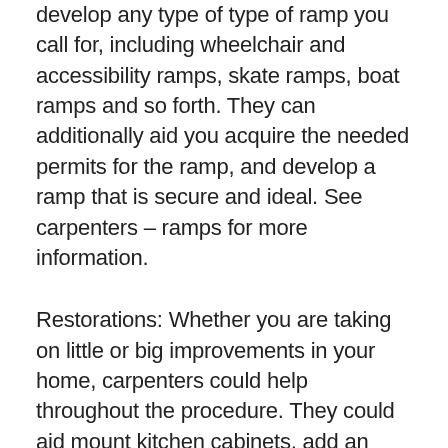develop any type of type of ramp you call for, including wheelchair and accessibility ramps, skate ramps, boat ramps and so forth. They can additionally aid you acquire the needed permits for the ramp, and develop a ramp that is secure and ideal. See carpenters – ramps for more information.
Restorations: Whether you are taking on little or big improvements in your home, carpenters could help throughout the procedure. They could aid mount kitchen cabinets, add an extension or deck, set up new floorings, wardrobes and so forth. They could likewise help you obtain intending consents and permits where needed and help with the rest of...